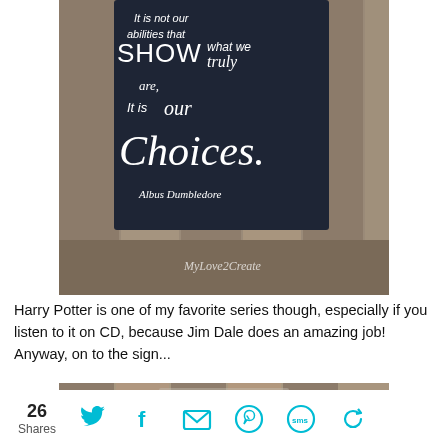[Figure (photo): A dark wooden sign with white text reading 'It is not our abilities that SHOW what we truly are, It is our Choices. - Albus Dumbledore', leaning against a wooden fence. Watermark reads 'MyLove2Create'.]
Harry Potter is one of my favorite series though, especially if you listen to it on CD, because Jim Dale does an amazing job! Anyway, on to the sign...
[Figure (photo): Partial/cropped view of a wooden background, bottom portion of another photo.]
26 Shares